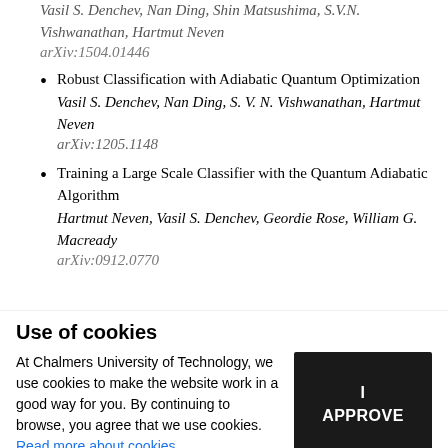Robust Classification with Adiabatic Quantum Optimization
Vasil S. Denchev, Nan Ding, S. V. N. Vishwanathan, Hartmut Neven
arXiv:1205.1148
Training a Large Scale Classifier with the Quantum Adiabatic Algorithm
Hartmut Neven, Vasil S. Denchev, Geordie Rose, William G. Macready
arXiv:0912.0770
Use of cookies
At Chalmers University of Technology, we use cookies to make the website work in a good way for you. By continuing to browse, you agree that we use cookies. Read more about cookies.